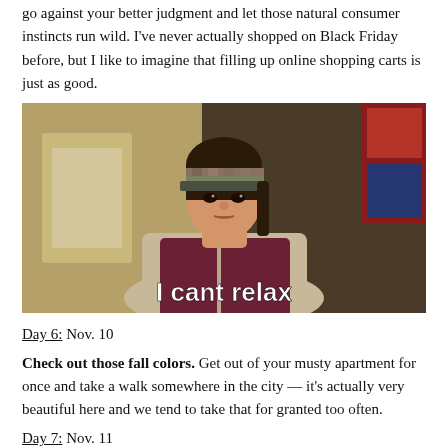go against your better judgment and let those natural consumer instincts run wild. I've never actually shopped on Black Friday before, but I like to imagine that filling up online shopping carts is just as good.
[Figure (photo): A woman wearing a beige fleece vest and a visor hat, looking stressed, with a white subtitle 'I cant relax' overlaid at the bottom of the image.]
Day 6: Nov. 10
Check out those fall colors. Get out of your musty apartment for once and take a walk somewhere in the city — it's actually very beautiful here and we tend to take that for granted too often.
Day 7: Nov. 11